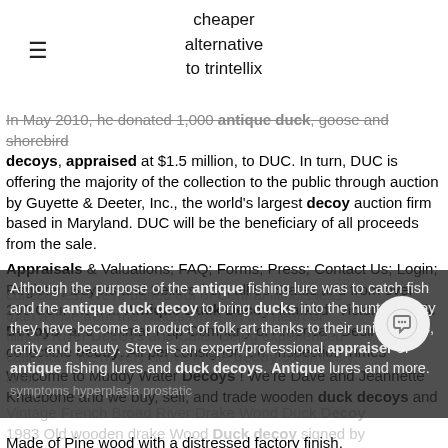cheaper alternative to trintellix
In May 2010, he donated 1,000 antique duck, goose and shorebird decoys, appraised at $1.5 million, to DUC. In turn, DUC is offering the majority of the collection to the public through auction by Guyette & Deeter, Inc., the world's largest decoy auction firm based in Maryland. DUC will be the beneficiary of all proceeds from the sale.
Appraisals & Valuations; FAQ; Forms; Press; Contact Us; Login; Register; Buyers and Sellers from all 50 States and from over 200 Countries. ... Antique Duck Decoy. Marked "Victor Majestic Decoys" and "Animal Trap Company of America". Desirable collectible decoy. All per consignor. Ch. Inspection Times
Welcome to Muddy Water Decoys ! We're Dave and Jeannette Knaebone and we buy, sell, and trade wooden duck decoys and collectibles. We're based out of Central Illinois less than a mile from the Illinois River, in the heart of Illinois River Decoys and Calls. Being experienced collectors, we're very active in the decoy community, and.
Although the purpose of the antique fishing lure was to catch fish and the antique duck decoy to bring ducks into the hunter, today they have become a product of folk art thanks to their uniqueness, rarity and beauty. Steve is an expert/professional appraiser of antique fishing lures and duck decoys. Antique lures and more.
Vintage French Broad River Drake Wood Duck Decoy 1983 Old wooden drake Wood Duck decoy signed by artist. Decoy is signed"French Broad River Decoy Company. Wood Duck, March, 1983" bird measures 14" L: 4-3/4" W and 6" H. Weighs 1lb.11 oz. Made of Pine wood with a distressed factory finish.